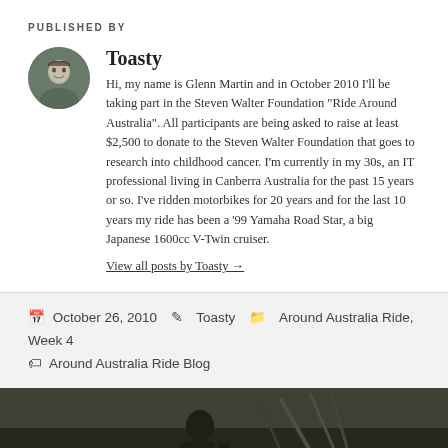PUBLISHED BY
Toasty
Hi, my name is Glenn Martin and in October 2010 I'll be taking part in the Steven Walter Foundation "Ride Around Australia". All participants are being asked to raise at least $2,500 to donate to the Steven Walter Foundation that goes to research into childhood cancer. I'm currently in my 30s, an IT professional living in Canberra Australia for the past 15 years or so. I've ridden motorbikes for 20 years and for the last 10 years my ride has been a '99 Yamaha Road Star, a big Japanese 1600cc V-Twin cruiser.
View all posts by Toasty →
October 26, 2010   Toasty   Around Australia Ride, Week 4   Around Australia Ride Blog
PREVIOUS
Day 22 Margaret River to Albany